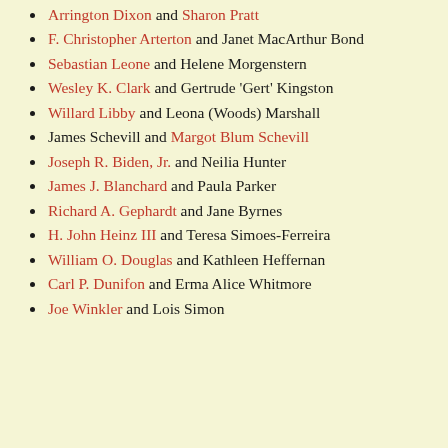Arrington Dixon and Sharon Pratt
F. Christopher Arterton and Janet MacArthur Bond
Sebastian Leone and Helene Morgenstern
Wesley K. Clark and Gertrude 'Gert' Kingston
Willard Libby and Leona (Woods) Marshall
James Schevill and Margot Blum Schevill
Joseph R. Biden, Jr. and Neilia Hunter
James J. Blanchard and Paula Parker
Richard A. Gephardt and Jane Byrnes
H. John Heinz III and Teresa Simoes-Ferreira
William O. Douglas and Kathleen Heffernan
Carl P. Dunifon and Erma Alice Whitmore
Joe Winkler and Lois Simon